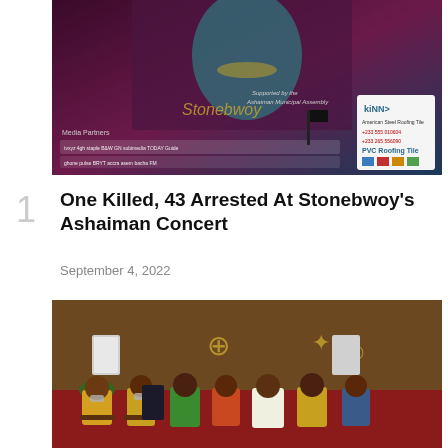[Figure (photo): Billboard/event poster for Stonebwoy's Ashaiman concert with sponsor logos, media partners banners, and a PVC roofing tile advertisement sign on the right side.]
One Killed, 43 Arrested At Stonebwoy's Ashaiman Concert
September 4, 2022
[Figure (photo): Indoor gathering of people dressed in traditional Kente and other African attire, seated in a formal hall with red carpet, gold Adinkra symbols on the wall, and air conditioning units visible in the background.]